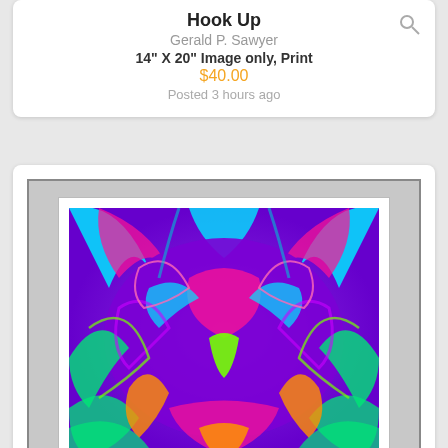Hook Up
Gerald P. Sawyer
14" X 20" Image only, Print
$40.00
Posted 3 hours ago
[Figure (illustration): Abstract psychedelic print artwork with symmetrical patterns, vibrant colors including purple, pink, cyan, green, and orange, forming a mirror-image creature-like design]